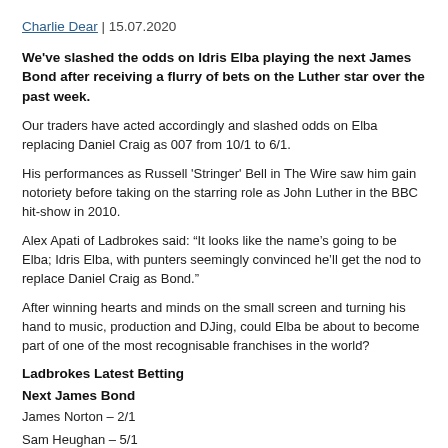Charlie Dear | 15.07.2020
We've slashed the odds on Idris Elba playing the next James Bond after receiving a flurry of bets on the Luther star over the past week.
Our traders have acted accordingly and slashed odds on Elba replacing Daniel Craig as 007 from 10/1 to 6/1.
His performances as Russell 'Stringer' Bell in The Wire saw him gain notoriety before taking on the starring role as John Luther in the BBC hit-show in 2010.
Alex Apati of Ladbrokes said: “It looks like the name’s going to be Elba; Idris Elba, with punters seemingly convinced he’ll get the nod to replace Daniel Craig as Bond.”
After winning hearts and minds on the small screen and turning his hand to music, production and DJing, could Elba be about to become part of one of the most recognisable franchises in the world?
Ladbrokes Latest Betting
Next James Bond
James Norton – 2/1
Sam Heughan – 5/1
Tom Hiddleston – 5/1